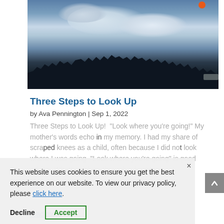[Figure (photo): Outdoor photo showing dramatic cloudy sky at dusk with dark tree silhouettes in foreground, an orange notification dot visible in top right area]
Three Steps to Look Up
by Ava Pennington | Sep 1, 2022
Three Steps to Look Up!  "Look where you're going!" My mother's words echo in my memory. I had my share of scraped knees as a child, often because I did not look where I was going. "Look where you're going" is good advice. Whether hiking through a forest or...
This website uses cookies to ensure you get the best experience on our website. To view our privacy policy, please click here.
read more